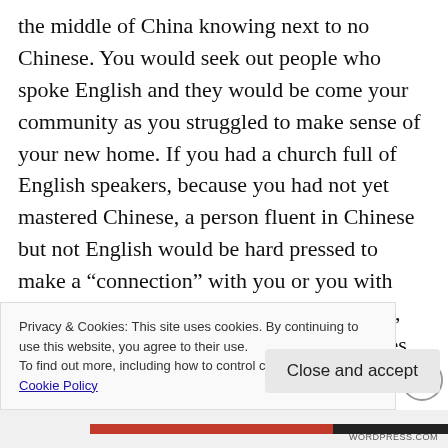the middle of China knowing next to no Chinese. You would seek out people who spoke English and they would be come your community as you struggled to make sense of your new home. If you had a church full of English speakers, because you had not yet mastered Chinese, a person fluent in Chinese but not English would be hard pressed to make a “connection” with you or you with them. In time that would change, of course, but in the present there would be difficulties. Some Orthodox parishes, do, however cling to a non local language
Privacy & Cookies: This site uses cookies. By continuing to use this website, you agree to their use.
To find out more, including how to control cookies, see here: Cookie Policy
Close and accept